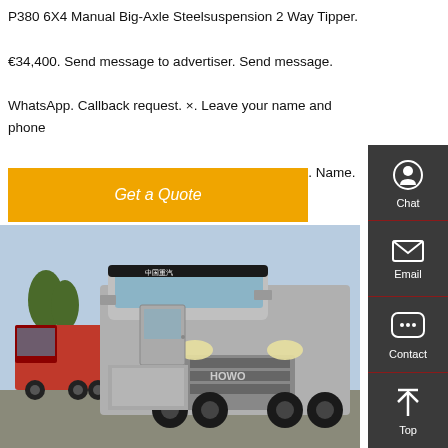P380 6X4 Manual Big-Axle Steelsuspension 2 Way Tipper. €34,400. Send message to advertiser. Send message. WhatsApp. Callback request. ×. Leave your name and phone number below and have BAS Trucks call you back. Name.
Get a Quote
[Figure (photo): Photo of HOWO heavy-duty trucks parked outdoors. A silver/grey HOWO tractor unit is prominent in the foreground, with a red truck visible to its left and other trucks in the background. Trees and a clear sky are visible.]
Chat
Email
Contact
Top